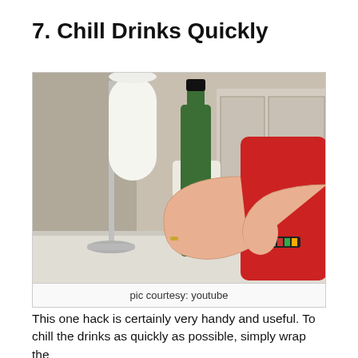7. Chill Drinks Quickly
[Figure (photo): A person wearing a red shirt and a decorative bracelet wrapping a green wine bottle with a paper towel, next to a paper towel holder on a kitchen counter.]
pic courtesy: youtube
This one hack is certainly very handy and useful. To chill the drinks as quickly as possible, simply wrap the